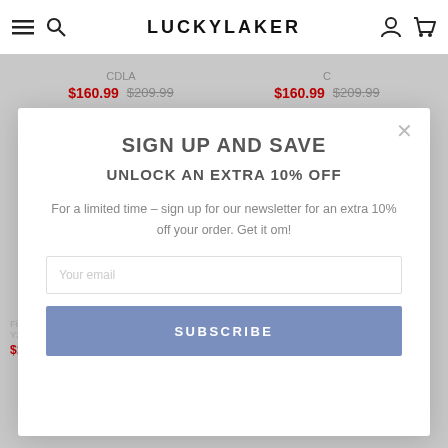LUCKYLAKER
CDLA  $160.99  $209.99  |  C  $160.99  $209.99
SIGN UP AND SAVE
UNLOCK AN EXTRA 10% OFF
For a limited time – sign up for our newsletter for an extra 10% off your order. Get it om!
Fish Finder V PRO+ Y2020-CDT  $130.99  $179.99  |  Fish Finder V PRO+ Y2020LiCLA  $160.99  $209.99
Your email
SUBSCRIBE